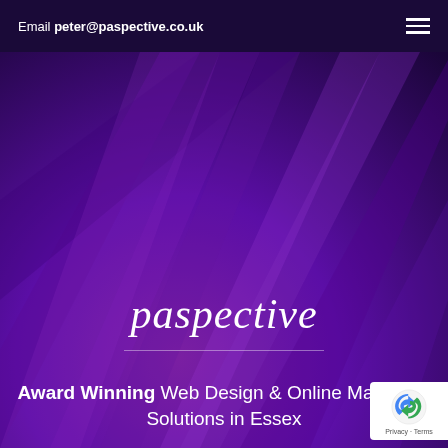Email peter@paspective.co.uk
[Figure (illustration): Purple abstract background with geometric light ray shapes radiating from lower-left area, blending shades of deep purple, violet, and dark blue]
paspective
Award Winning Web Design & Online Marketing Solutions in Essex
[Figure (logo): Google reCAPTCHA badge with blue and grey arrow icon, showing Privacy and Terms text]